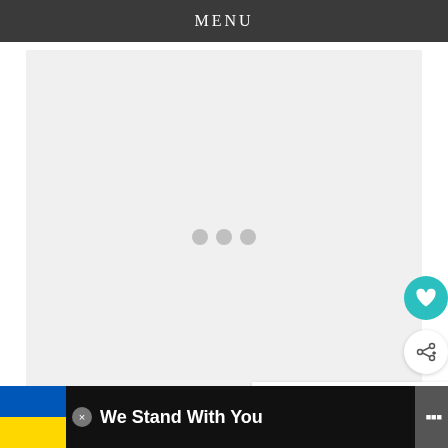MENU
[Figure (other): Large gray loading placeholder with three gray dots in the center indicating content loading. Contains a teal heart icon button, a white share icon button, and a 'WHAT'S NEXT' card showing 'Miranda Kerr Twirls for...' with a thumbnail image.]
WHAT'S NEXT → Miranda Kerr Twirls for...
We Stand With You